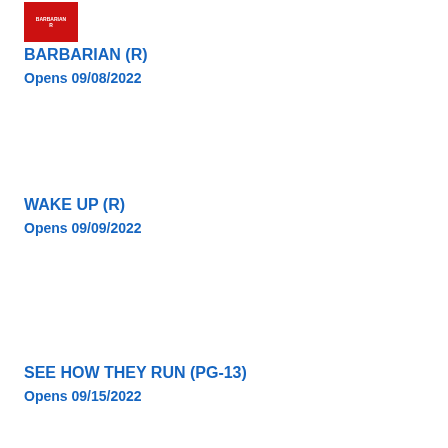[Figure (photo): Red movie poster for BARBARIAN]
BARBARIAN (R)
Opens 09/08/2022
WAKE UP (R)
Opens 09/09/2022
SEE HOW THEY RUN (PG-13)
Opens 09/15/2022